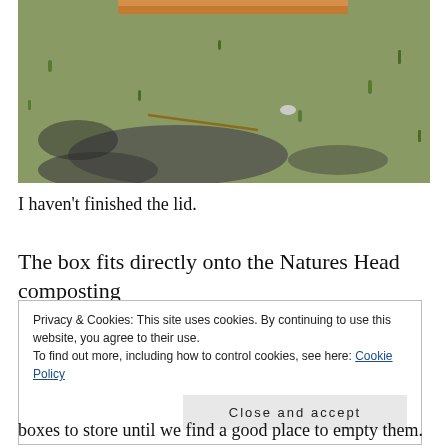[Figure (photo): Outdoor grass/gravel ground photograph, partial wooden lid/frame visible at top edge]
I haven't finished the lid.
The box fits directly onto the Natures Head composting
Privacy & Cookies: This site uses cookies. By continuing to use this website, you agree to their use.
To find out more, including how to control cookies, see here: Cookie Policy
Close and accept
boxes to store until we find a good place to empty them.